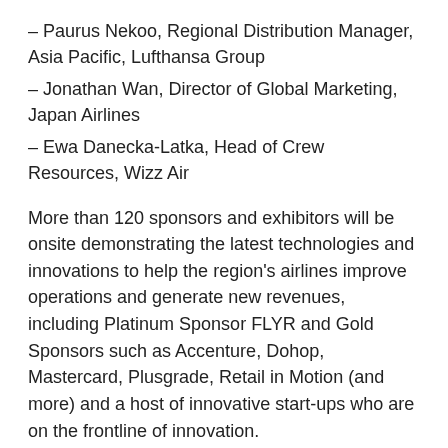– Paurus Nekoo, Regional Distribution Manager, Asia Pacific, Lufthansa Group
– Jonathan Wan, Director of Global Marketing, Japan Airlines
– Ewa Danecka-Latka, Head of Crew Resources, Wizz Air
More than 120 sponsors and exhibitors will be onsite demonstrating the latest technologies and innovations to help the region's airlines improve operations and generate new revenues, including Platinum Sponsor FLYR and Gold Sponsors such as Accenture, Dohop, Mastercard, Plusgrade, Retail in Motion (and more) and a host of innovative start-ups who are on the frontline of innovation.
About Aviation Festival Asia 2022